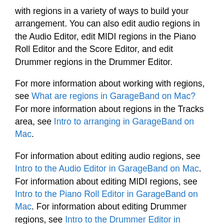with regions in a variety of ways to build your arrangement. You can also edit audio regions in the Audio Editor, edit MIDI regions in the Piano Roll Editor and the Score Editor, and edit Drummer regions in the Drummer Editor.
For more information about working with regions, see What are regions in GarageBand on Mac? For more information about regions in the Tracks area, see Intro to arranging in GarageBand on Mac.
For information about editing audio regions, see Intro to the Audio Editor in GarageBand on Mac. For information about editing MIDI regions, see Intro to the Piano Roll Editor in GarageBand on Mac. For information about editing Drummer regions, see Intro to the Drummer Editor in GarageBand on Mac.